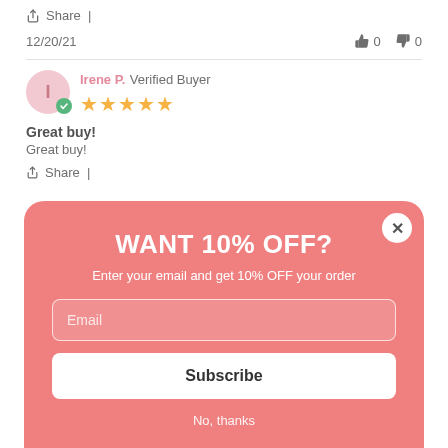Share |
12/20/21   👍 0   👎 0
Irene P. Verified Buyer ★★★★★
Great buy!
Great buy!
Share |
[Figure (screenshot): Modal popup with salmon/coral pink background. Title: WANT 10% OFF? Subtitle: Enter your email and get 10% OFF your order. Email input field, Subscribe button, No thanks link. Close X button in top right.]